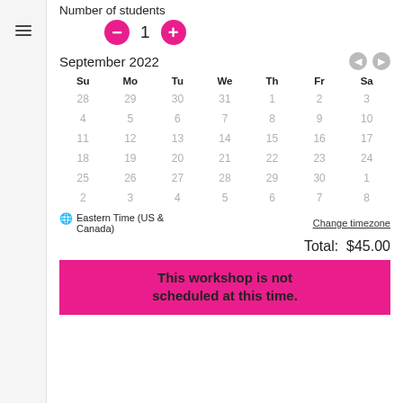Number of students
[Figure (other): Number of students stepper control with minus button, number 1, and plus button]
[Figure (other): September 2022 calendar with navigation arrows, days of week headers Su Mo Tu We Th Fr Sa, and greyed-out date numbers]
🌐 Eastern Time (US & Canada)
Change timezone
Total:  $45.00
This workshop is not scheduled at this time.